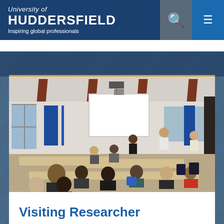University of Huddersfield — Inspiring global professionals
[Figure (photo): A university classroom/workshop space with students seated at tables watching a presenter at the front. There is a large projection screen showing a white slide. The room has exposed brick walls, large windows, and blue accent panels. Multiple students are seated with their backs to the camera.]
Visiting Researcher